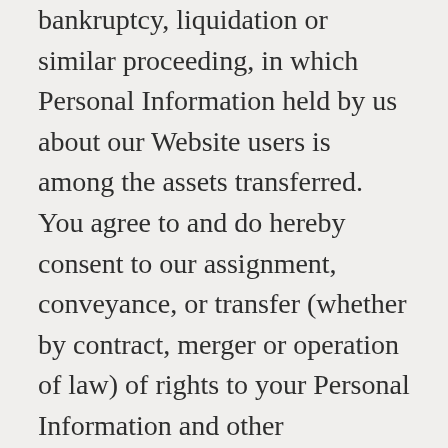bankruptcy, liquidation or similar proceeding, in which Personal Information held by us about our Website users is among the assets transferred. You agree to and do hereby consent to our assignment, conveyance, or transfer (whether by contract, merger or operation of law) of rights to your Personal Information and other information, with or without notice to you and without your further consent.
Security